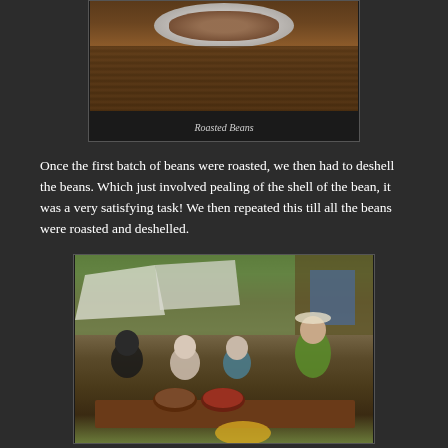[Figure (photo): Photo of roasted beans on a plate placed on a wooden surface, viewed from above]
Roasted Beans
Once the first batch of beans were roasted, we then had to deshell the beans. Which just involved pealing of the shell of the bean, it was a very satisfying task! We then repeated this till all the beans were roasted and deshelled.
[Figure (photo): Photo of four people sitting around a table outdoors deshelling beans, with bowls of beans on the table]